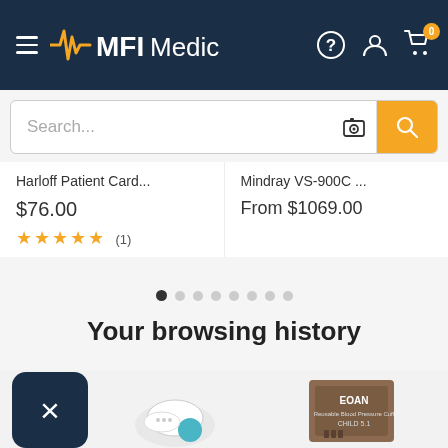MFI Medical
Search...
Harloff Patient Card... $76.00 ★★★★★ (1)
Mindray VS-900C ... From $1069.00
Your browsing history
[Figure (screenshot): Medical product thumbnails at the bottom of the page including a white device and a brown EOAN blood pressure cuff]